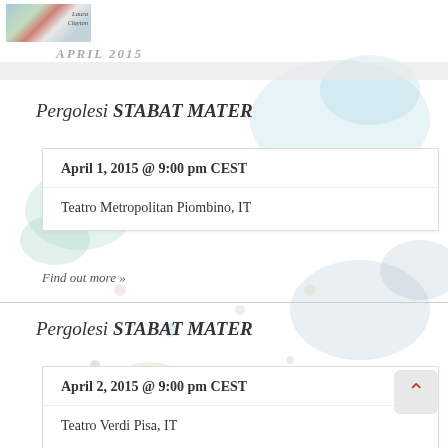Laura Clayton
APRIL 2015
Pergolesi STABAT MATER
| April 1, 2015 @ 9:00 pm CEST |
| Teatro Metropolitan Piombino, IT |
Find out more »
Pergolesi STABAT MATER
| April 2, 2015 @ 9:00 pm CEST |
| Teatro Verdi Pisa, IT |